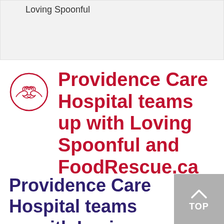Loving Spoonful
[Figure (logo): Circular logo with two hands shaking, outlined in red]
Providence Care Hospital teams up with Loving Spoonful and FoodRescue.ca
Providence Care Hospital teams up with Loving Spoonful and